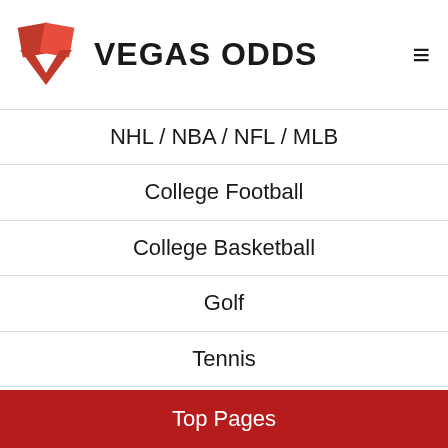[Figure (logo): Vegas Odds logo: red heart/chevron shape with text VEGAS ODDS in bold black, hamburger menu icon on the right]
NHL / NBA / NFL / MLB
College Football
College Basketball
Golf
Tennis
Horses
UFC
Top Pages